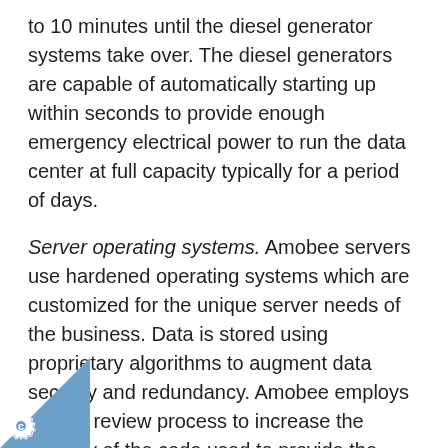to 10 minutes until the diesel generator systems take over. The diesel generators are capable of automatically starting up within seconds to provide enough emergency electrical power to run the data center at full capacity typically for a period of days.
Server operating systems. Amobee servers use hardened operating systems which are customized for the unique server needs of the business. Data is stored using proprietary algorithms to augment data security and redundancy. Amobee employs a code review process to increase the security of the code used to provide the Processor Services and enhance the security products in production environments.